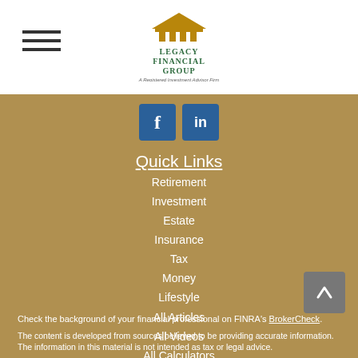[Figure (logo): Legacy Financial Group logo with building icon and tagline 'A Registered Investment Advisor Firm']
[Figure (illustration): Social media icons: Facebook (f) and LinkedIn (in) in blue square buttons]
Quick Links
Retirement
Investment
Estate
Insurance
Tax
Money
Lifestyle
All Articles
All Videos
All Calculators
All Presentations
Check the background of your financial professional on FINRA's BrokerCheck.
The content is developed from sources believed to be providing accurate information. The information in this material is not intended as tax or legal advice.